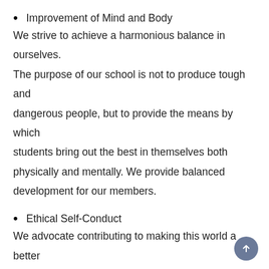Improvement of Mind and Body
We strive to achieve a harmonious balance in ourselves. The purpose of our school is not to produce tough and dangerous people, but to provide the means by which students bring out the best in themselves both physically and mentally. We provide balanced development for our members.
Ethical Self-Conduct
We advocate contributing to making this world a better and safer place for humanity, not through vigilantism, but through ethical self-conduct. Our students are instilled with the importance of responsible behavior. As more people follow this path, the influence of ethical